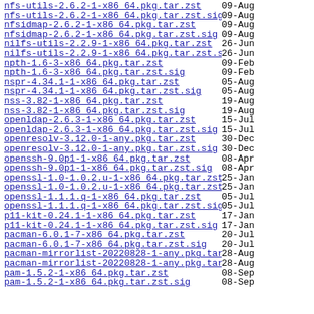nfs-utils-2.6.2-1-x86_64.pkg.tar.zst   09-Aug
nfs-utils-2.6.2-1-x86_64.pkg.tar.zst.sig   09-Aug
nfsidmap-2.6.2-1-x86_64.pkg.tar.zst   09-Aug
nfsidmap-2.6.2-1-x86_64.pkg.tar.zst.sig   09-Aug
nilfs-utils-2.2.9-1-x86_64.pkg.tar.zst   26-Jun
nilfs-utils-2.2.9-1-x86_64.pkg.tar.zst.sig   26-Jun
npth-1.6-3-x86_64.pkg.tar.zst   09-Feb
npth-1.6-3-x86_64.pkg.tar.zst.sig   09-Feb
nspr-4.34.1-1-x86_64.pkg.tar.zst   05-Aug
nspr-4.34.1-1-x86_64.pkg.tar.zst.sig   05-Aug
nss-3.82-1-x86_64.pkg.tar.zst   19-Aug
nss-3.82-1-x86_64.pkg.tar.zst.sig   19-Aug
openldap-2.6.3-1-x86_64.pkg.tar.zst   15-Jul
openldap-2.6.3-1-x86_64.pkg.tar.zst.sig   15-Jul
openresolv-3.12.0-1-any.pkg.tar.zst   30-Dec
openresolv-3.12.0-1-any.pkg.tar.zst.sig   30-Dec
openssh-9.0p1-1-x86_64.pkg.tar.zst   08-Apr
openssh-9.0p1-1-x86_64.pkg.tar.zst.sig   08-Apr
openssl-1.0-1.0.2.u-1-x86_64.pkg.tar.zst   25-Jan
openssl-1.0-1.0.2.u-1-x86_64.pkg.tar.zst.sig   25-Jan
openssl-1.1.1.q-1-x86_64.pkg.tar.zst   05-Jul
openssl-1.1.1.q-1-x86_64.pkg.tar.zst.sig   05-Jul
p11-kit-0.24.1-1-x86_64.pkg.tar.zst   17-Jan
p11-kit-0.24.1-1-x86_64.pkg.tar.zst.sig   17-Jan
pacman-6.0.1-7-x86_64.pkg.tar.zst   20-Jul
pacman-6.0.1-7-x86_64.pkg.tar.zst.sig   20-Jul
pacman-mirrorlist-20220828-1-any.pkg.tar.zst   28-Aug
pacman-mirrorlist-20220828-1-any.pkg.tar.zst.sig   28-Aug
pam-1.5.2-1-x86_64.pkg.tar.zst   08-Sep
pam-1.5.2-1-x86_64.pkg.tar.zst.sig   08-Sep